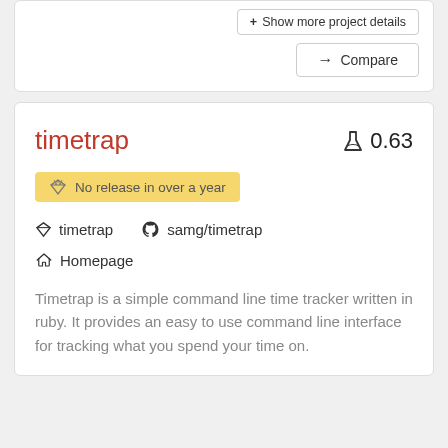+ Show more project details
→ Compare
timetrap
⚗ 0.63
No release in over a year
timetrap
samg/timetrap
Homepage
Timetrap is a simple command line time tracker written in ruby. It provides an easy to use command line interface for tracking what you spend your time on.